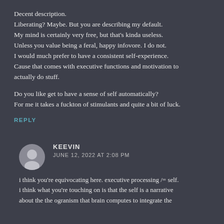Decent description.
Liberating? Maybe. But you are describing my default.
My mind is certainly very free, but that's kinda useless.
Unless you value being a feral, happy infovore. I do not.
I would much prefer to have a consistent self-experience.
Cause that comes with executive functions and motivation to actually do stuff.

Do you like get to have a sense of self automatically?
For me it takes a fuckton of stimulants and quite a bit of luck.
REPLY
KEEVIN
JUNE 12, 2022 AT 2:08 PM
i think you're equivocating here. executive processing /= self. i think what you're touching on is that the self is a narrative about the the ogranism that brain computes to integrate the